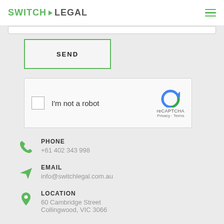SWITCH>LEGAL
[Figure (screenshot): SEND button with green border]
[Figure (screenshot): reCAPTCHA widget with checkbox and I'm not a robot text]
PHONE
+61 402 343 998
EMAIL
info@switchlegal.com.au
LOCATION
60 Cambridge Street
Collingwood, VIC 3066